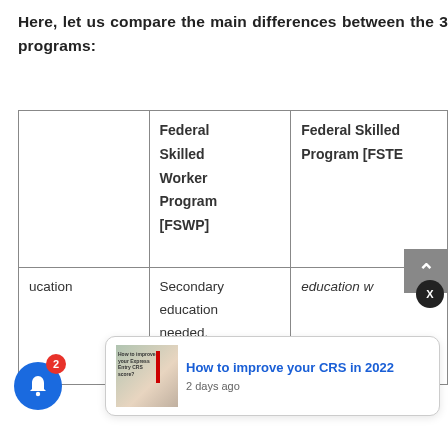Here, let us compare the main differences between the 3 programs:
|  | Federal Skilled Worker Program [FSWP] | Federal Skilled Program [FSTP] |
| --- | --- | --- |
|  | Federal Skilled Worker Program [FSWP] | Federal Skilled Program [FSTE] |
| Education | Secondary education needed. | education w... |